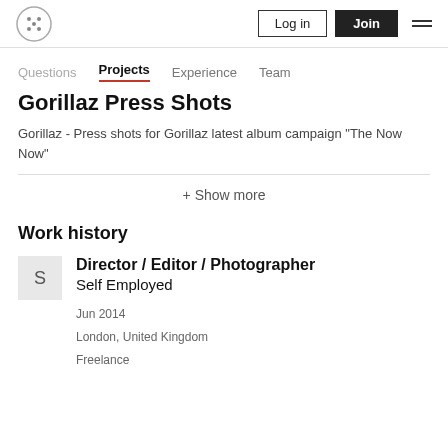Log in | Join
Questions  Projects  Experience  Team
Gorillaz Press Shots
Gorillaz - Press shots for Gorillaz latest album campaign "The Now Now"
+ Show more
Work history
Director / Editor / Photographer
Self Employed
Jun 2014
London, United Kingdom
Freelance